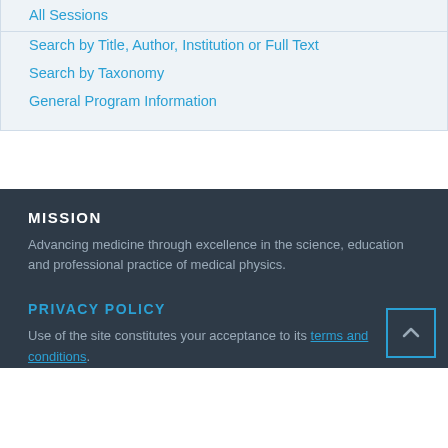All Sessions
Search by Title, Author, Institution or Full Text
Search by Taxonomy
General Program Information
MISSION
Advancing medicine through excellence in the science, education and professional practice of medical physics.
PRIVACY POLICY
Use of the site constitutes your acceptance to its terms and conditions.